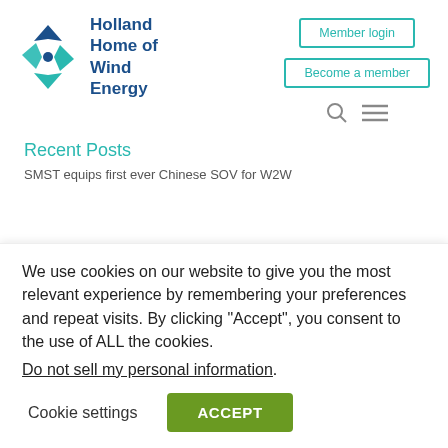[Figure (logo): Holland Home of Wind Energy logo with teal/blue pinwheel icon and dark blue text]
Member login
Become a member
Recent Posts
SMST equips first ever Chinese SOV for W2W
We use cookies on our website to give you the most relevant experience by remembering your preferences and repeat visits. By clicking “Accept”, you consent to the use of ALL the cookies.
Do not sell my personal information.
Cookie settings
ACCEPT